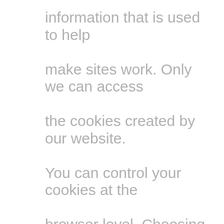information that is used to help make sites work. Only we can access the cookies created by our website. You can control your cookies at the browser level. Choosing to disable cookies may hinder your use of certain functions. Advertising partners and third